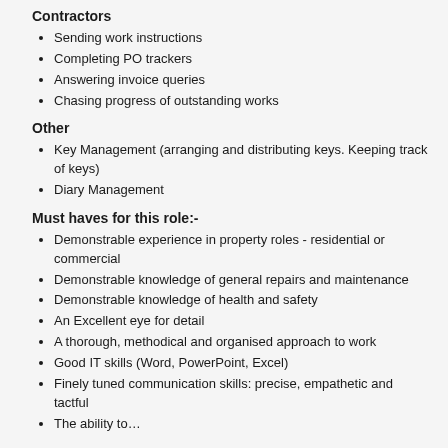Contractors
Sending work instructions
Completing PO trackers
Answering invoice queries
Chasing progress of outstanding works
Other
Key Management (arranging and distributing keys. Keeping track of keys)
Diary Management
Must haves for this role:-
Demonstrable experience in property roles - residential or commercial
Demonstrable knowledge of general repairs and maintenance
Demonstrable knowledge of health and safety
An Excellent eye for detail
A thorough, methodical and organised approach to work
Good IT skills (Word, PowerPoint, Excel)
Finely tuned communication skills: precise, empathetic and tactful
The ability to…